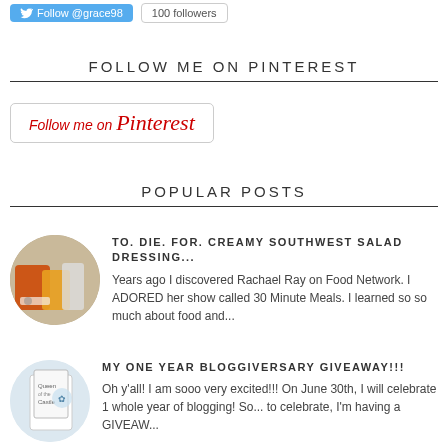[Figure (screenshot): Twitter Follow button for @grace98 and 100 followers badge]
FOLLOW ME ON PINTEREST
[Figure (screenshot): Pinterest Follow me on Pinterest button]
POPULAR POSTS
[Figure (photo): Thumbnail photo of salad dressing bottles]
TO. DIE. FOR. CREAMY SOUTHWEST SALAD DRESSING...
Years ago I discovered Rachael Ray on Food Network.  I ADORED her show called 30 Minute Meals.  I learned so so much about food and...
[Figure (photo): Thumbnail photo related to bloggiversary giveaway]
MY ONE YEAR BLOGGIVERSARY GIVEAWAY!!!
Oh y'all! I am sooo very excited!!! On June 30th, I will celebrate 1 whole year of blogging! So... to celebrate, I'm having a GIVEAW...